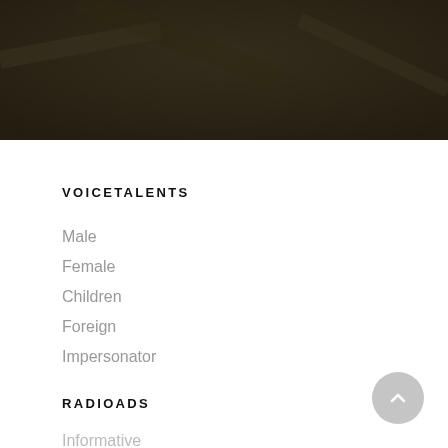[Figure (photo): Dark blurred photograph background at top of page]
VOICETALENTS
Male
Female
Children
Foreign
Impersonator
RADIOADS
Informative